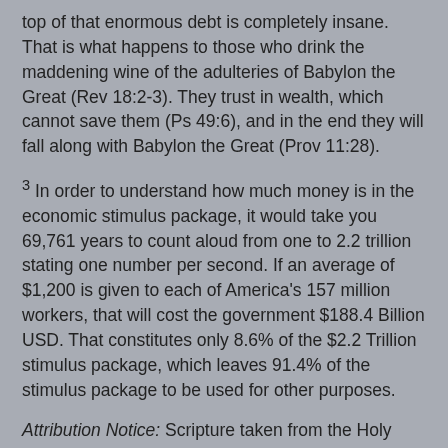top of that enormous debt is completely insane. That is what happens to those who drink the maddening wine of the adulteries of Babylon the Great (Rev 18:2-3). They trust in wealth, which cannot save them (Ps 49:6), and in the end they will fall along with Babylon the Great (Prov 11:28).
3 In order to understand how much money is in the economic stimulus package, it would take you 69,761 years to count aloud from one to 2.2 trillion stating one number per second. If an average of $1,200 is given to each of America's 157 million workers, that will cost the government $188.4 Billion USD. That constitutes only 8.6% of the $2.2 Trillion stimulus package, which leaves 91.4% of the stimulus package to be used for other purposes.
Attribution Notice: Scripture taken from the Holy Bible NIV, copyright Zondervan, used by permission.
Author's note: You must take responsibility for your own actions. This article is not to be construed as financial advice. This is only to provide you with information, so that you can make your own decisions, for which you will be